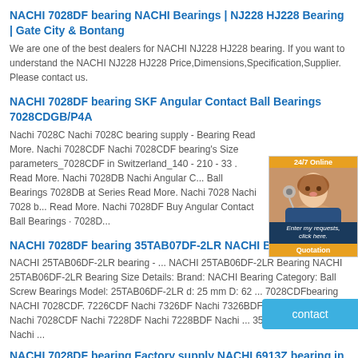NACHI 7028DF bearing NACHI Bearings | NJ228 HJ228 Bearing | Gate City & Bontang
We are one of the best dealers for NACHI NJ228 HJ228 bearing. If you want to understand the NACHI NJ228 HJ228 Price,Dimensions,Specification,Supplier. Please contact us.
NACHI 7028DF bearing SKF Angular Contact Ball Bearings 7028CDGB/P4A
Nachi 7028C Nachi 7028C bearing supply - Bearing Read More. Nachi 7028CDF Nachi 7028CDF bearing's Size parameters_7028CDF in Switzerland_140 - 210 - 33 . Read More. Nachi 7028DB Nachi Angular Contact Ball Bearings 7028DB at Series Read More. Nachi 7028 Nachi 7028 b... Read More. Nachi 7028DF Buy Angular Contact Ball Bearings · 7028D...
[Figure (photo): Chat widget showing a customer service agent with '24/7 Online' header, tagline 'Enter my requests, click here.' and Quotation button]
NACHI 7028DF bearing 35TAB07DF-2LR NACHI Bearing - OK
NACHI 25TAB06DF-2LR bearing - ... NACHI 25TAB06DF-2LR Bearing NACHI 25TAB06DF-2LR Bearing Size Details: Brand: NACHI Bearing Category: Ball Screw Bearings Model: 25TAB06DF-2LR d: 25 mm D: 62 ... 7028CDFbearing NACHI 7028CDF. 7226CDF Nachi 7326DF Nachi 7326BDF Nachi 7028DF Nachi 7028CDF Nachi 7228DF Nachi 7228BDF Nachi ... 35TAB07DF-2LR Nachi ...
NACHI 7028DF bearing Factory supply NACHI 6913Z bearing in Kemer CB...